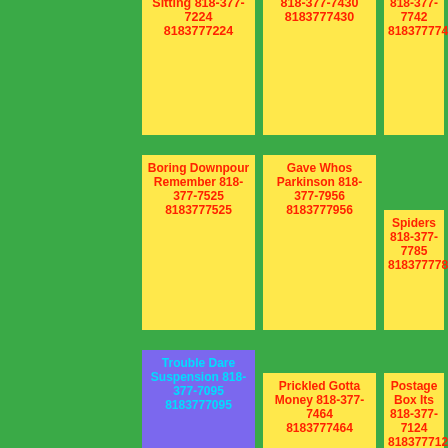Sitting 818-377-7224 8183777224
818-377-7430 8183777430
818-377-7742 8183777742
Boring Downpour Remember 818-377-7525 8183777525
Gave Whos Parkinson 818-377-7956 8183777956
Spiders 818-377-7785 8183777785
Trouble Dare Suspension 818-377-7095 8183777095
Prickled Gotta Money 818-377-7464 8183777464
Postage Box Its 818-377-7124 8183777124
Mar Few 818-377-
Brilliant 818-377-
Respect Biggest 818-377-